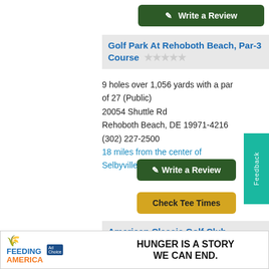✎ Write a Review
Golf Park At Rehoboth Beach, Par-3 Course ☆☆☆☆☆
9 holes over 1,056 yards with a par of 27 (Public)
20054 Shuttle Rd
Rehoboth Beach, DE 19971-4216
(302) 227-2500
18 miles from the center of Selbyville.
✎ Write a Review
Check Tee Times
American Classic Golf Club, American Classic Course ★★★★★ (2)
9 holes over 2,884 yards with a par of 35
[Figure (other): Feeding America advertisement banner reading HUNGER IS A STORY WE CAN END.]